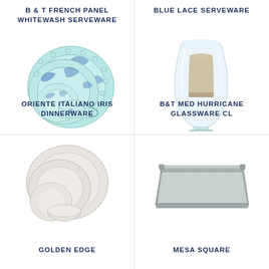B & T FRENCH PANEL WHITEWASH SERVEWARE
BLUE LACE SERVEWARE
[Figure (photo): Blue and turquoise Oriente Italiano Iris dinnerware set with plates and cup]
[Figure (photo): Clear glass hurricane vase with a pillar candle inside]
ORIENTE ITALIANO IRIS DINNERWARE
B&T MED HURRICANE GLASSWARE CL
[Figure (photo): White/cream scalloped-edge dinnerware set with plates and bowl]
[Figure (photo): Silver rectangular decorative tray with raised edges]
GOLDEN EDGE
MESA SQUARE